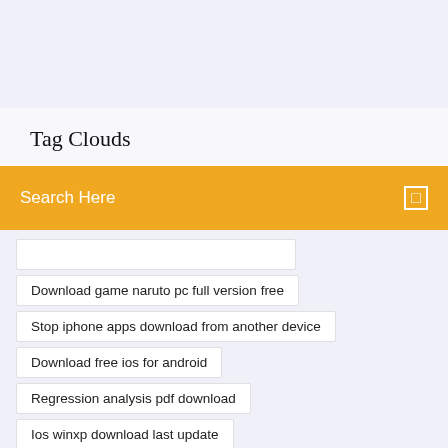Tag Clouds
Search Here
Download game naruto pc full version free
Stop iphone apps download from another device
Download free ios for android
Regression analysis pdf download
Ios winxp download last update
Zzz file opener download